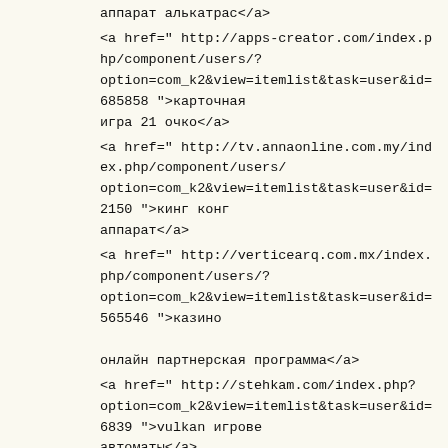аппарат алькатрас</a>
<a href=" http://apps-creator.com/index.php/component/users/?option=com_k2&view=itemlist&task=user&id=685858 ">карточная игра 21 очко</a>
<a href=" http://tv.annaonline.com.my/index.php/component/users/?option=com_k2&view=itemlist&task=user&id=2150 ">кинг конг аппарат</a>
<a href=" http://verticearq.com.mx/index.php/component/users/?option=com_k2&view=itemlist&task=user&id=565546 ">казино онлайн партнерская программа</a>
<a href=" http://stehkam.com/index.php?option=com_k2&view=itemlist&task=user&id=6839 ">vulkan игровые автоматы</a>
<a href=" http://www.funnelcakes.co.uk/index.php/component/users/?option=com_k2&view=itemlist&task=user&id=14704 ">игровые автоматы адреса</a>
<a href=" http://www.littlebearonline.com/index.php?option=com_k2&view=itemlist&task=user&id=13403 ">игровые автоматы вулкан плей</a>
<a href=" http://abbrother-leather.com/index.php?option=com_k2&view=itemlist&task=user&id=9734 ">азартные